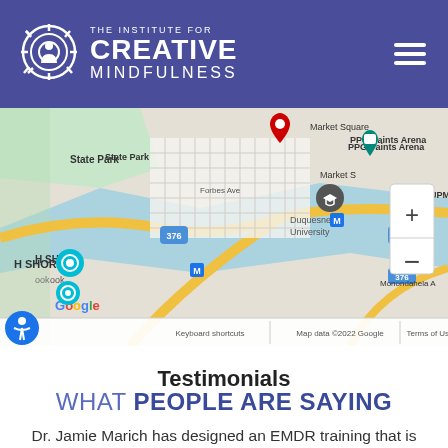THE INSTITUTE FOR CREATIVE MINDFULNESS
[Figure (map): Google Maps screenshot showing Pittsburgh area including Market Square, State Park, PPG Paints Arena, Forbes Ave, Duquesne University, UPM, route 376. Shows zoom controls (+/-). Bottom bar reads: Keyboard shortcuts | Map data ©2022 Google | Terms of Use]
Testimonials
WHAT PEOPLE ARE SAYING
Dr. Jamie Marich has designed an EMDR training that is nothing shy of AMAZING! As the Founder of the "only" Therapist of Color